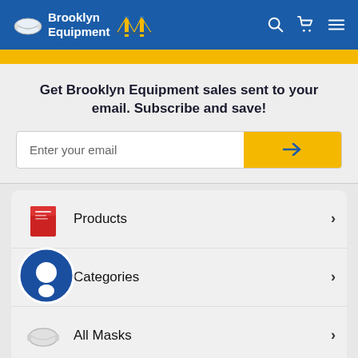[Figure (logo): Brooklyn Equipment logo with mask icon and bridge icon, white text on blue header background]
Get Brooklyn Equipment sales sent to your email. Subscribe and save!
Enter your email
Products
Categories
All Masks